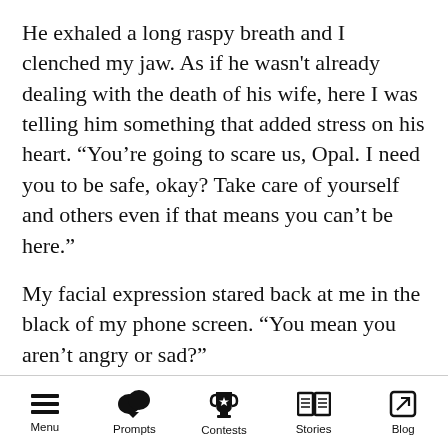He exhaled a long raspy breath and I clenched my jaw. As if he wasn't already dealing with the death of his wife, here I was telling him something that added stress on his heart. “You’re going to scare us, Opal. I need you to be safe, okay? Take care of yourself and others even if that means you can’t be here.”
My facial expression stared back at me in the black of my phone screen. “You mean you aren’t angry or sad?”
“Try concerned.”
A bag of bricks had fallen off my shoulders and I
Menu   Prompts   Contests   Stories   Blog